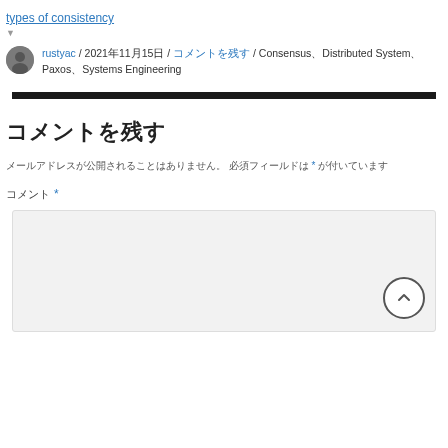types of consistency
rustyac / 2021年11月15日 / コメントを残す / Consensus、Distributed System、Paxos、Systems Engineering
コメントを残す
メールアドレスが公開されることはありません。 必須フィールドは * が付いています
コメント *